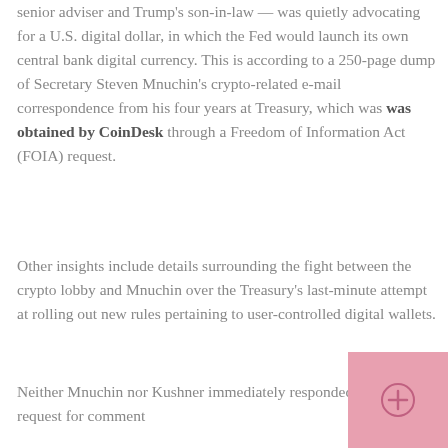senior adviser and Trump's son-in-law — was quietly advocating for a U.S. digital dollar, in which the Fed would launch its own central bank digital currency. This is according to a 250-page dump of Secretary Steven Mnuchin's crypto-related e-mail correspondence from his four years at Treasury, which was was obtained by CoinDesk through a Freedom of Information Act (FOIA) request.
Other insights include details surrounding the fight between the crypto lobby and Mnuchin over the Treasury's last-minute attempt at rolling out new rules pertaining to user-controlled digital wallets.
Neither Mnuchin nor Kushner immediately responded to CNBC's request for comment